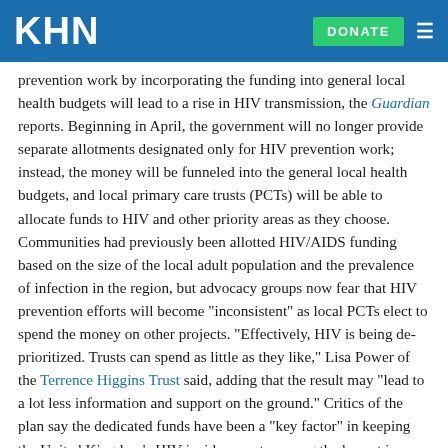KHN | DONATE
prevention work by incorporating the funding into general local health budgets will lead to a rise in HIV transmission, the Guardian reports. Beginning in April, the government will no longer provide separate allotments designated only for HIV prevention work; instead, the money will be funneled into the general local health budgets, and local primary care trusts (PCTs) will be able to allocate funds to HIV and other priority areas as they choose. Communities had previously been allotted HIV/AIDS funding based on the size of the local adult population and the prevalence of infection in the region, but advocacy groups now fear that HIV prevention efforts will become "inconsistent" as local PCTs elect to spend the money on other projects. "Effectively, HIV is being de-prioritized. Trusts can spend as little as they like," Lisa Power of the Terrence Higgins Trust said, adding that the result may "lead to a lot less information and support on the ground." Critics of the plan say the dedicated funds have been a "key factor" in keeping the United Kingdom's HIV incidence rate among the lowest in western Europe, and they are concerned that prevention work will fall by the wayside. The need for increased prevention efforts was recently reinforced by a report that showed a 17% increase in new HIV cases last year. All HIV/AIDS